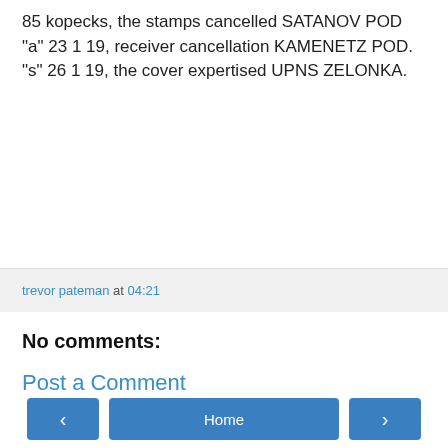85 kopecks, the stamps cancelled SATANOV POD "a" 23 1 19, receiver cancellation KAMENETZ POD. "s" 26 1 19, the cover expertised UPNS ZELONKA.
trevor pateman at 04:21
No comments:
Post a Comment
Home
View web version